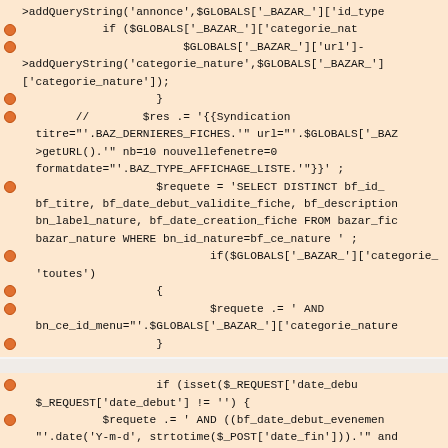>addQueryString('annonce',$GLOBALS['_BAZAR_']['id_type
if ($GLOBALS['_BAZAR_']['categorie_nat
$GLOBALS['_BAZAR_']['url']->addQueryString('categorie_nature',$GLOBALS['_BAZAR_']['categorie_nature']);
}
// $res .= '{{Syndication titre="'.BAZ_DERNIERES_FICHES.'" url="'.$GLOBALS['_BAZ>getURL().'" nb=10 nouvellefenetre=0 formatdate="'.BAZ_TYPE_AFFICHAGE_LISTE.'"}}';
$requete = 'SELECT DISTINCT bf_id_ bf_titre, bf_date_debut_validite_fiche, bf_description bn_label_nature, bf_date_creation_fiche FROM bazar_fic bazar_nature WHERE bn_id_nature=bf_ce_nature ' ;
if($GLOBALS['_BAZAR_']['categorie_ 'toutes')
{
$requete .= ' AND bn_ce_id_menu="'.$GLOBALS['_BAZAR_']['categorie_nature
}
if (isset($_REQUEST['date_debu $_REQUEST['date_debut'] != '') {
$requete .= ' AND ((bf_date_debut_evenemen "'.date('Y-m-d', strtotime($_POST['date_fin']))."' and bf_date_debut_evenement >= "'.date('Y-m-d'